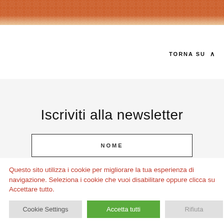[Figure (photo): Partial top strip showing an orange/brown dotted textile or object against a light background — cropped top of page]
TORNA SU ^
Iscriviti alla newsletter
NOME
Questo sito utilizza i cookie per migliorare la tua esperienza di navigazione. Seleziona i cookie che vuoi disabilitare oppure clicca su Accettare tutto.
Cookie Settings | Accetta tutti | Rifiuta